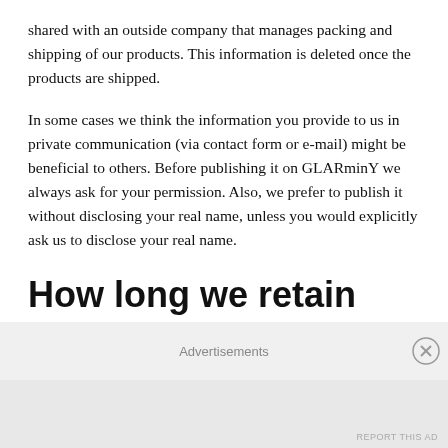shared with an outside company that manages packing and shipping of our products. This information is deleted once the products are shipped.
In some cases we think the information you provide to us in private communication (via contact form or e-mail) might be beneficial to others. Before publishing it on GLARminY we always ask for your permission. Also, we prefer to publish it without disclosing your real name, unless you would explicitly ask us to disclose your real name.
How long we retain your data
If you leave a comment, the comment and its metadata are
Advertisements